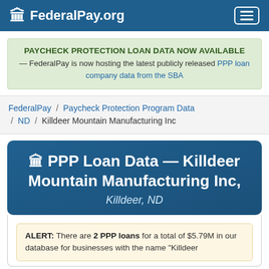FederalPay.org
PAYCHECK PROTECTION LOAN DATA NOW AVAILABLE — FederalPay is now hosting the latest publicly released PPP loan company data from the SBA
FederalPay / Paycheck Protection Program Data / ND / Killdeer Mountain Manufacturing Inc
PPP Loan Data — Killdeer Mountain Manufacturing Inc, Killdeer, ND
ALERT: There are 2 PPP loans for a total of $5.79M in our database for businesses with the name "Killdeer